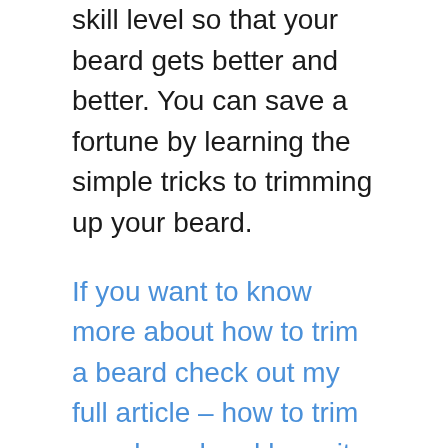skill level so that your beard gets better and better. You can save a fortune by learning the simple tricks to trimming up your beard.
If you want to know more about how to trim a beard check out my full article – how to trim your beard and keep it looking sharp – click here to be taken to article.
If you want a quick rundown on how I treat my beard check out my YouTube video, below: